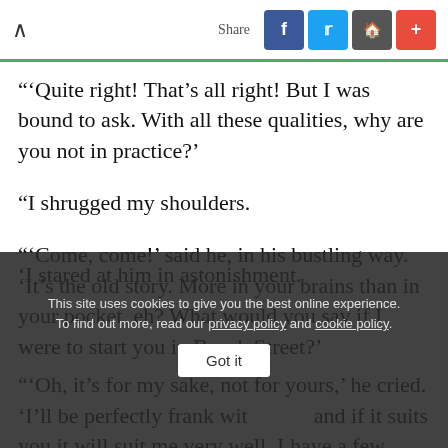Share
"'Quite right! That's all right! But I was bound to ask. With all these qualities, why are you not in practice?'
"I shrugged my shoulders.
"'Come, come!' said he, in his bustling way. 'It's the old story. More in your brains than in your pocket, eh? What would you say if I were to start you in Brook Street?'
'I stared at him in astonishment.
This site uses cookies to give you the best online experience. To find out more, read our privacy policy and cookie policy.
"'Oh, it's for my sake, not for yours,' he cried. 'I'll be perfectly frank with you, and if it suits you it will suit me very well. I have a few thousands to
Got it